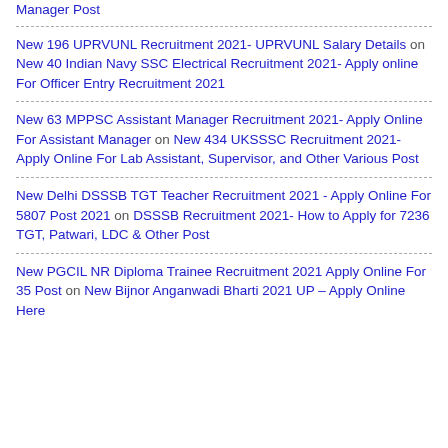Manager Post
New 196 UPRVUNL Recruitment 2021- UPRVUNL Salary Details on New 40 Indian Navy SSC Electrical Recruitment 2021- Apply online For Officer Entry Recruitment 2021
New 63 MPPSC Assistant Manager Recruitment 2021- Apply Online For Assistant Manager on New 434 UKSSSC Recruitment 2021- Apply Online For Lab Assistant, Supervisor, and Other Various Post
New Delhi DSSSB TGT Teacher Recruitment 2021 - Apply Online For 5807 Post 2021 on DSSSB Recruitment 2021- How to Apply for 7236 TGT, Patwari, LDC & Other Post
New PGCIL NR Diploma Trainee Recruitment 2021 Apply Online For 35 Post on New Bijnor Anganwadi Bharti 2021 UP – Apply Online Here